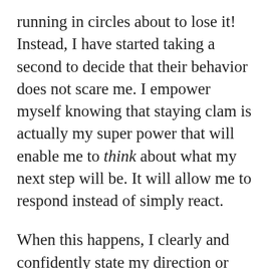running in circles about to lose it! Instead, I have started taking a second to decide that their behavior does not scare me. I empower myself knowing that staying clam is actually my super power that will enable me to think about what my next step will be. It will allow me to respond instead of simply react.
When this happens, I clearly and confidently state my direction or request. Then I remind them there are consequences to their choices. Lastly, I then step back and allow them to make their choice. Of course if they are truly not being safe, I will intervene right away and become a